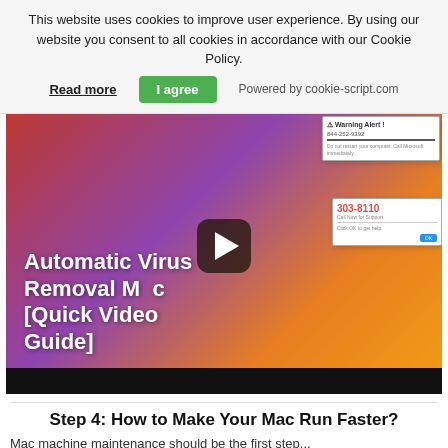This website uses cookies to improve user experience. By using our website you consent to all cookies in accordance with our Cookie Policy.
Read more   I agree   Powered by cookie-script.com
[Figure (screenshot): Video thumbnail showing 'Automatic Virus Removal Mac [Quick Video Guide]' with a play button overlay, laptop keyboard, and security alert popup windows on the right side]
Step 4: How to Make Your Mac Run Faster?
Mac machine maintenance should be the first step...